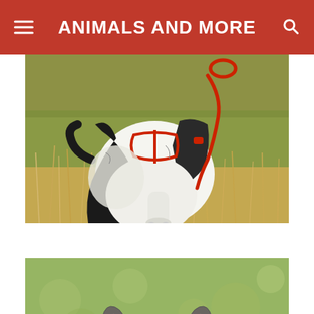ANIMALS AND MORE
[Figure (photo): Close-up of a dog with a red leash and harness, photographed from behind/side on dry brown grass. The dog appears to be a husky or similar breed with black and white fur.]
[Figure (photo): Back of a Boston Terrier or French Bulldog's head with large upright ears, photographed from behind against a blurred green grass background.]